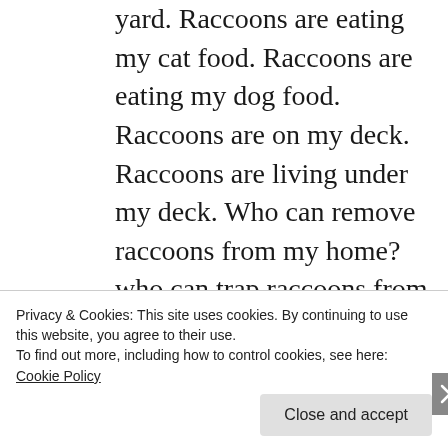yard. Raccoons are eating my cat food. Raccoons are eating my dog food. Raccoons are on my deck. Raccoons are living under my deck. Who can remove raccoons from my home? who can trap raccoons from my home? Raccoon trapping services by The Wildlife Professionals of Westchester County, NY!
Privacy & Cookies: This site uses cookies. By continuing to use this website, you agree to their use.
To find out more, including how to control cookies, see here: Cookie Policy
Close and accept